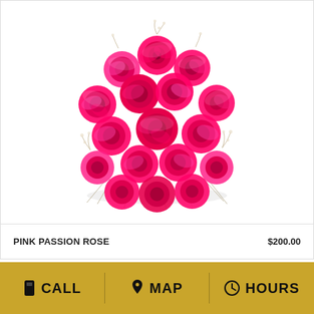[Figure (photo): Overhead view of a bouquet of pink passion roses with white/pink petals and small filler flowers, arranged in a circular bunch against a white background.]
PINK PASSION ROSE
$200.00
CALL   MAP   HOURS